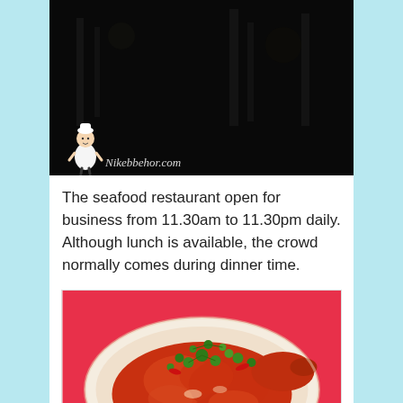[Figure (photo): Dark nighttime exterior photo of a seafood restaurant with a chef mascot watermark and 'Nikebbehor.com' text in the lower left corner]
The seafood restaurant open for business from 11.30am to 11.30pm daily. Although lunch is available, the crowd normally comes during dinner time.
[Figure (photo): Close-up photo of chili crab dish in a white bowl on a pink background, garnished with green coriander leaves]